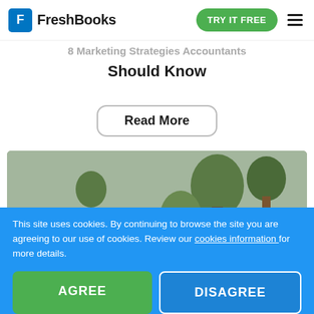FreshBooks — TRY IT FREE
Should Know
Read More
[Figure (photo): Two women sitting on a couch, one looking at a laptop, surrounded by indoor plants near a window.]
This site uses cookies. By continuing to browse the site you are agreeing to our use of cookies. Review our cookies information for more details.
AGREE
DISAGREE